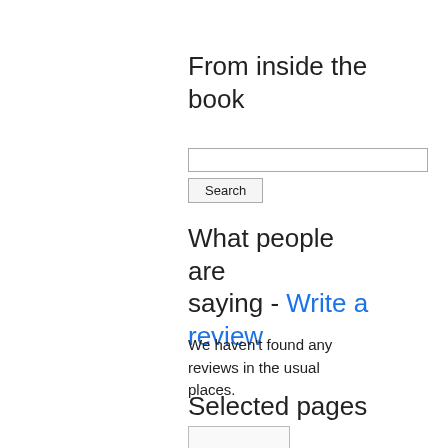From inside the book
[Figure (screenshot): Search input field with a Search button below it]
What people are saying - Write a review
We haven't found any reviews in the usual places.
Selected pages
[Figure (screenshot): Thumbnail image of a selected page]